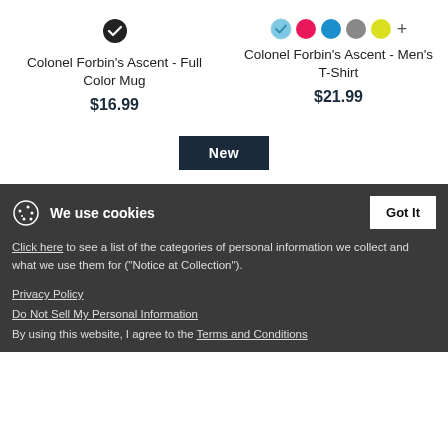Colonel Forbin's Ascent - Full Color Mug
$16.99
Colonel Forbin's Ascent - Men's T-Shirt
$21.99
New
We use cookies
Got It
Click here to see a list of the categories of personal information we collect and what we use them for ("Notice at Collection").
Privacy Policy
Do Not Sell My Personal Information
By using this website, I agree to the Terms and Conditions